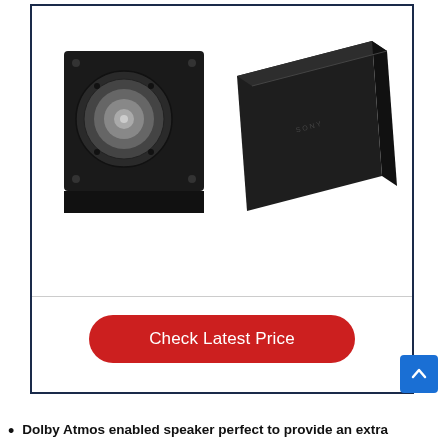[Figure (photo): Two Sony Dolby Atmos enabled speakers on white background: a flat square speaker with visible driver (left) and a wedge-shaped angled speaker (right), both in black.]
Check Latest Price
Dolby Atmos enabled speaker perfect to provide an extra